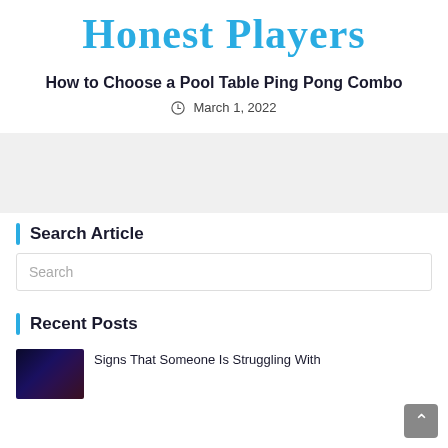Honest Players
How to Choose a Pool Table Ping Pong Combo
March 1, 2022
[Figure (other): Gray advertisement or banner placeholder block]
Search Article
Search
Recent Posts
[Figure (photo): Dark blue/purple thumbnail image for a recent post]
Signs That Someone Is Struggling With